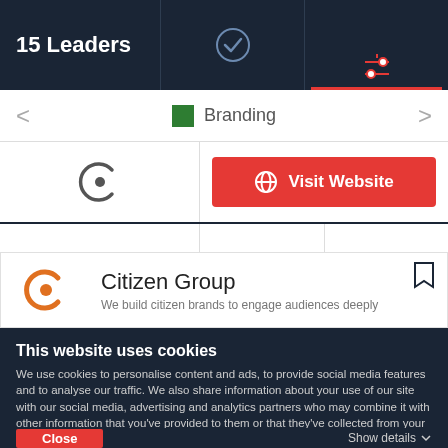15 Leaders
Branding
Visit Website
Citizen Group
We build citizen brands to engage audiences deeply
This website uses cookies
We use cookies to personalise content and ads, to provide social media features and to analyse our traffic. We also share information about your use of our site with our social media, advertising and analytics partners who may combine it with other information that you've provided to them or that they've collected from your use of their services. You agree to our cookies if you continue to use our website.
Close
Show details